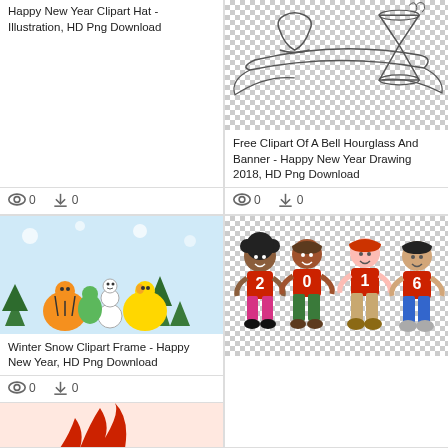Happy New Year Clipart Hat - Illustration, HD Png Download
0  0
[Figure (illustration): Winter Snow Clipart Frame with Winnie the Pooh and Tigger characters with snowman and Christmas trees]
Winter Snow Clipart Frame - Happy New Year, HD Png Download
0  0
[Figure (illustration): Partial image, bottom of page]
[Figure (illustration): Free Clipart of a bell, hourglass and banner - Happy New Year Drawing 2018]
Free Clipart Of A Bell Hourglass And Banner - Happy New Year Drawing 2018, HD Png Download
0  0
[Figure (illustration): Four cartoon children wearing red shirts with numbers 2, 0, 1, 6 spelling 2016]